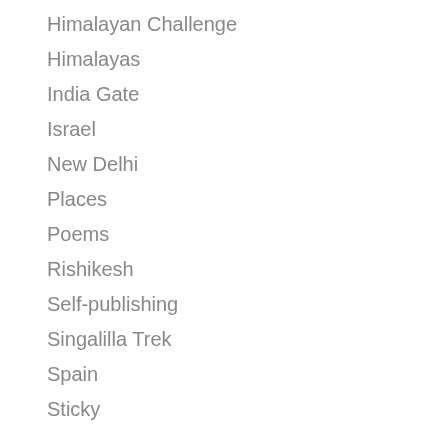Himalayan Challenge
Himalayas
India Gate
Israel
New Delhi
Places
Poems
Rishikesh
Self-publishing
Singalilla Trek
Spain
Sticky